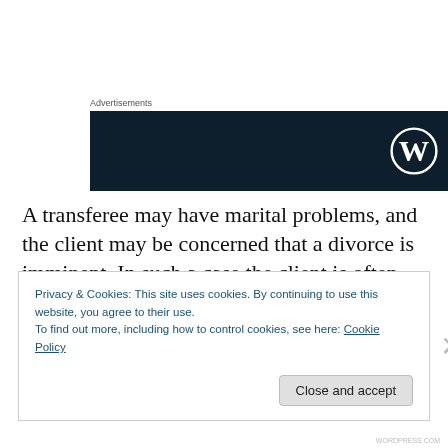Advertisements
[Figure (logo): WordPress advertisement banner — dark navy background with WordPress W logo on right side]
A transferee may have marital problems, and the client may be concerned that a divorce is imminent. In such a case the client is often concerned that the assets will become part of the marital estate for purposes of equitable division. The use of a trust will obviate the possibility of the
Privacy & Cookies: This site uses cookies. By continuing to use this website, you agree to their use.
To find out more, including how to control cookies, see here: Cookie Policy
Close and accept